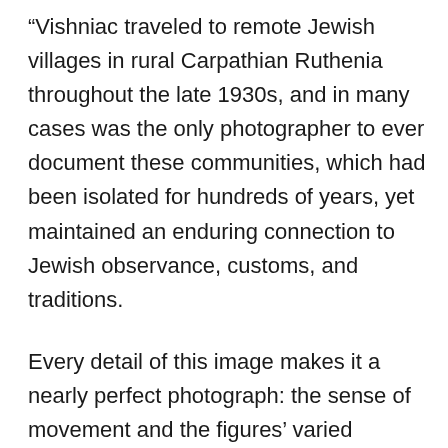“Vishniac traveled to remote Jewish villages in rural Carpathian Ruthenia throughout the late 1930s, and in many cases was the only photographer to ever document these communities, which had been isolated for hundreds of years, yet maintained an enduring connection to Jewish observance, customs, and traditions.
Every detail of this image makes it a nearly perfect photograph: the sense of movement and the figures’ varied gestures and vibrant expressions; the carefully balanced horizontal bands of shadow and striped fabric; the detail of a woman peering out of a window while a glass pane on the facing structure points in the direction of an impossibly angled triangular building that vertically divides the frame in half; and the collective sense of surprise at encountering the photographer. Like much of Vishniac’s unpublished work, this composition recalls